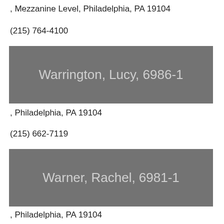, Mezzanine Level, Philadelphia, PA 19104
(215) 764-4100
Warrington, Lucy, 6986-1
, Philadelphia, PA 19104
(215) 662-7119
Warner, Rachel, 6981-1
, Philadelphia, PA 19104
(215) 590-7555